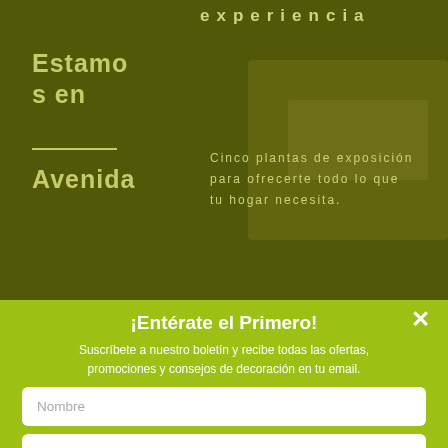[Figure (photo): Background photo of a furniture showroom with dark olive/yellow-green overlay. Text overlaid on left: 'Estamos en' and 'Avenida'. Text in center-right top: 'experiencia'. Text in center-right: 'Cinco plantas de exposición para ofrecerte todo lo que tu hogar necesita.']
¡Entérate el Primero!
Suscríbete a nuestro boletín y recibe todas las ofertas, promociones y consejos de decoración en tu email.
Nombre
Correo electrónico
Quiero recibir las novedades de Muebles Moya por email y acepto la Política de Privacidad
SUSCRÍBETE AHORA